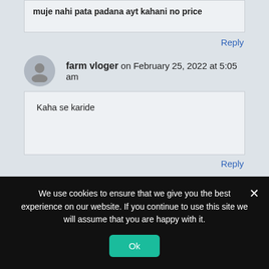muje nahi pata padana ayt kahani no price
Reply
farm vloger on February 25, 2022 at 5:05 am
Kaha se karide
Reply
Estain Arshad on February 25, 2022 at 5:06 am
We use cookies to ensure that we give you the best experience on our website. If you continue to use this site we will assume that you are happy with it.
Ok